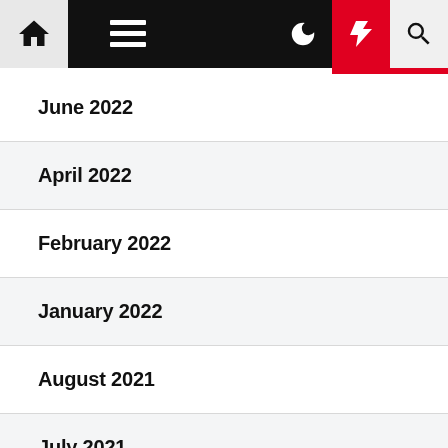Navigation bar with home, menu, dark mode, flash, and search icons
June 2022
April 2022
February 2022
January 2022
August 2021
July 2021
June 2021
May 2021
April 2021